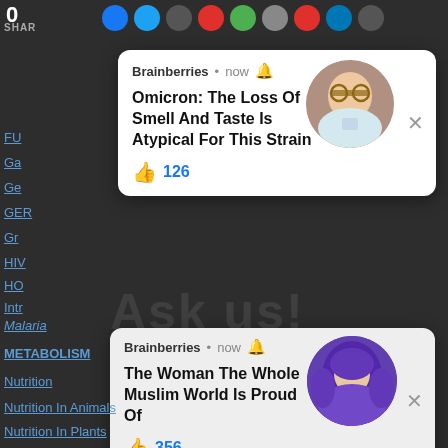0
SHARE
Fu
Ga
Ge
GER
Gr
HIV
HO
Intr
Malaria
METABOLISM
Nutrition
Nutrition In Animals
Nutrition In Plants
Osmosis
Oxygen
[Figure (screenshot): Brainberries notification card 1: 'Omicron: The Loss Of Smell And Taste Is Atypical For This Strain' with 126 likes and a circular photo of a woman with glasses holding a blue object]
[Figure (screenshot): Brainberries notification card 2: 'The Woman The Whole Muslim World Is Proud Of' with 356 likes and a circular photo of a woman in a purple hijab]
TAP HERE TO ASK:
No Thanks!